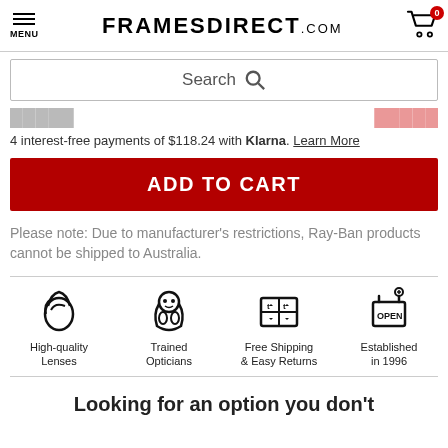FRAMESDIRECT.COM
Search
4 interest-free payments of $118.24 with Klarna. Learn More
ADD TO CART
Please note: Due to manufacturer's restrictions, Ray-Ban products cannot be shipped to Australia.
[Figure (infographic): Four feature icons: High-quality Lenses, Trained Opticians, Free Shipping & Easy Returns, Established in 1996]
Looking for an option you don't